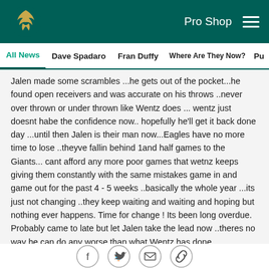Pro Shop  ☰
All News  Dave Spadaro  Fran Duffy  Where Are They Now?  Pu...
Jalen made some scrambles ...he gets out of the pocket...he found open receivers and was accurate on his throws ..never over thrown or under thrown like Wentz does ... wentz just doesnt habe the confidence now.. hopefully he'll get it back done day ...until then Jalen is their man now...Eagles have no more time to lose ..theyve fallin behind 1and half games to the Giants... cant afford any more poor games that wetnz keeps giving them constantly with the same mistakes game in and game out for the past 4 - 5 weeks ..basically the whole year ...its just not changing ..they keep waiting and waiting and hoping but nothing ever happens. Time for change ! Its been long overdue. Probably came to late but let Jalen take the lead now ..theres no way he can do any worse than what Wentz has done.
[Figure (other): Social sharing icons: Facebook, Twitter, Email, Link]